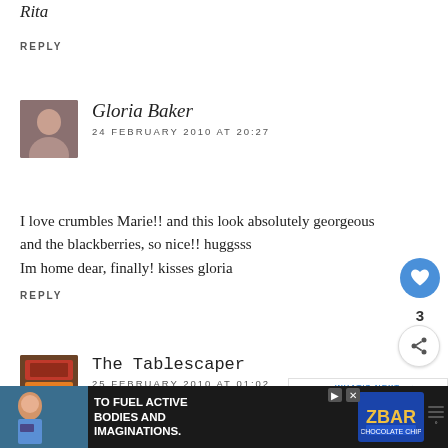Rita
REPLY
Gloria Baker
24 FEBRUARY 2010 AT 20:27
I love crumbles Marie!! and this look absolutely georgeous and the blackberries, so nice!! huggsss
Im home dear, finally! kisses gloria
REPLY
The Tablescaper
25 FEBRUARY 2010 AT 01:02
OMG everything looks exceptional!!!
I have joined as a Follower. When I was in London, food was wonderful, particularly the toffee pudding!
[Figure (infographic): Advertisement banner at bottom: dark background with child image, text 'TO FUEL ACTIVE BODIES AND IMAGINATIONS.' and ZBAR product logo/image]